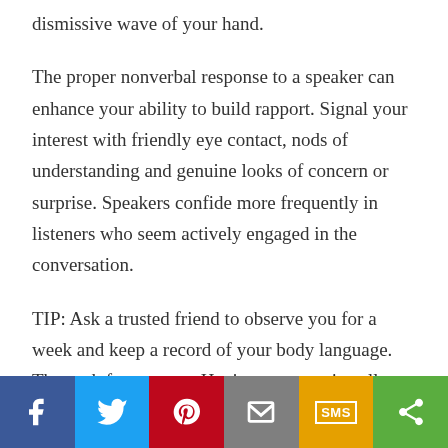dismissive wave of your hand.
The proper nonverbal response to a speaker can enhance your ability to build rapport. Signal your interest with friendly eye contact, nods of understanding and genuine looks of concern or surprise. Speakers confide more frequently in listeners who seem actively engaged in the conversation.
TIP: Ask a trusted friend to observe you for a week and keep a record of your body language. Then ask for a report. Having a supportive ally give you feedback on your mannerisms and expressions can increase your awareness of both appropriate and inappropriate nonverbal cues.
[Figure (infographic): Social sharing bar with icons for Facebook, Twitter, Pinterest, Email, SMS, and Share]